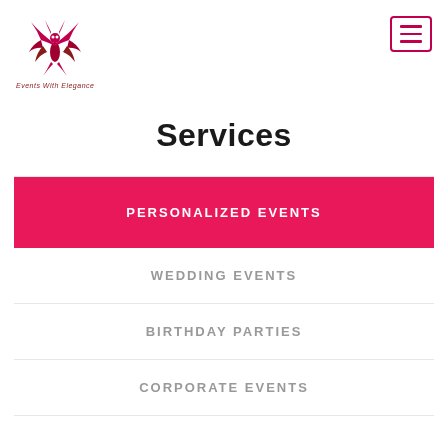[Figure (logo): Red phoenix/eagle logo with text 'Events With Elegance' below]
Services
PERSONALIZED EVENTS
WEDDING EVENTS
BIRTHDAY PARTIES
CORPORATE EVENTS